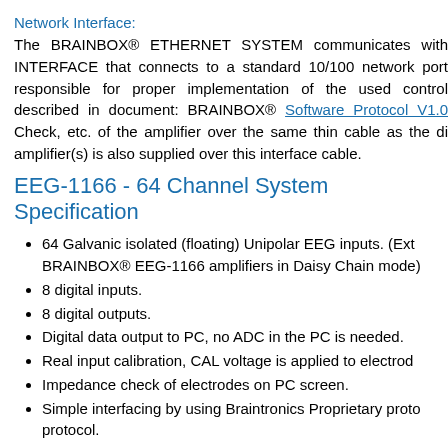Network Interface:
The BRAINBOX® ETHERNET SYSTEM communicates with INTERFACE that connects to a standard 10/100 network port responsible for proper implementation of the used control described in document: BRAINBOX® Software Protocol V1.0 Check, etc. of the amplifier over the same thin cable as the di amplifier(s) is also supplied over this interface cable.
EEG-1166 - 64 Channel System Specifications
64 Galvanic isolated (floating) Unipolar EEG inputs. (Ext BRAINBOX® EEG-1166 amplifiers in Daisy Chain mode)
8 digital inputs.
8 digital outputs.
Digital data output to PC, no ADC in the PC is needed.
Real input calibration, CAL voltage is applied to electrod
Impedance check of electrodes on PC screen.
Simple interfacing by using Braintronics Proprietary proto protocol.
Possibility tot use 1 EEG channel for SpO2 and EVENT. added).
possible BRAINBOX® amplifier combinations